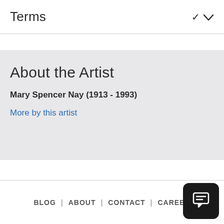Terms
About the Artist
Mary Spencer Nay (1913 - 1993)
More by this artist
BLOG | ABOUT | CONTACT | CAREER